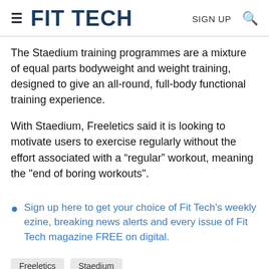FIT TECH | SIGN UP
The Staedium training programmes are a mixture of equal parts bodyweight and weight training, designed to give an all-round, full-body functional training experience.
With Staedium, Freeletics said it is looking to motivate users to exercise regularly without the effort associated with a “regular” workout, meaning the "end of boring workouts".
Sign up here to get your choice of Fit Tech's weekly ezine, breaking news alerts and every issue of Fit Tech magazine FREE on digital.
Freeletics  Staedium